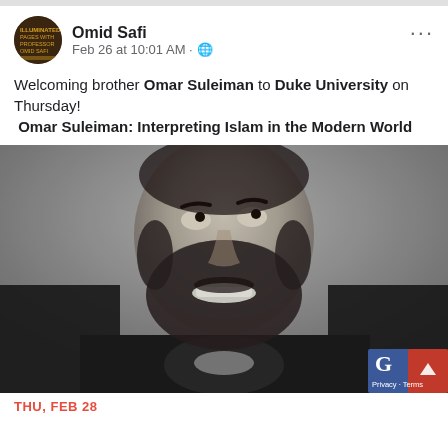Omid Safi
Feb 26 at 10:01 AM · 🌐
Welcoming brother Omar Suleiman to Duke University on Thursday!
 Omar Suleiman: Interpreting Islam in the Modern World
[Figure (photo): Black and white portrait photo of a bearded man smiling and looking upward]
THU, FEB 28